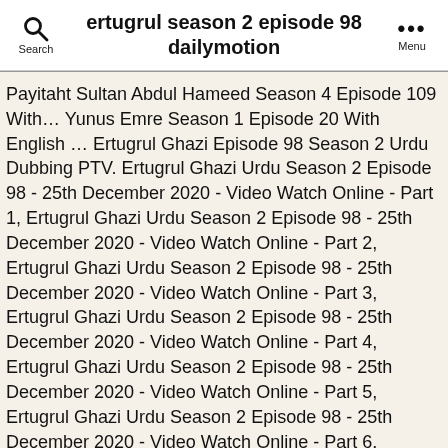ertugrul season 2 episode 98 dailymotion
Payitaht Sultan Abdul Hameed Season 4 Episode 109 With… Yunus Emre Season 1 Episode 20 With English … Ertugrul Ghazi Episode 98 Season 2 Urdu Dubbing PTV. Ertugrul Ghazi Urdu Season 2 Episode 98 - 25th December 2020 - Video Watch Online - Part 1, Ertugrul Ghazi Urdu Season 2 Episode 98 - 25th December 2020 - Video Watch Online - Part 2, Ertugrul Ghazi Urdu Season 2 Episode 98 - 25th December 2020 - Video Watch Online - Part 3, Ertugrul Ghazi Urdu Season 2 Episode 98 - 25th December 2020 - Video Watch Online - Part 4, Ertugrul Ghazi Urdu Season 2 Episode 98 - 25th December 2020 - Video Watch Online - Part 5, Ertugrul Ghazi Urdu Season 2 Episode 98 - 25th December 2020 - Video Watch Online - Part 6, Mohabbatain Chahatain Episode 9 by Hum Tv Drama 29th December 2020, Aulaad Episode 2 by Ary Digital Drama 29th December 2020, Nand Episode 86 - 29th December 2020 by Ary